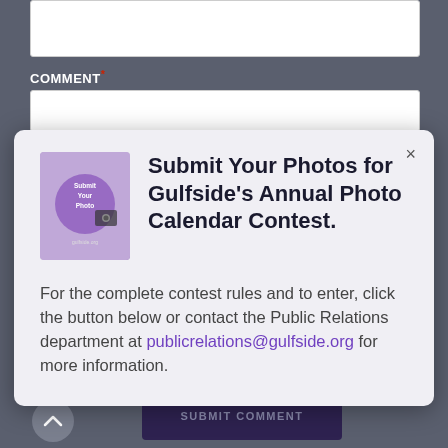COMMENT*
[Figure (screenshot): A modal dialog popup on a web form background. The modal contains a thumbnail image of a photo contest flyer, a bold title 'Submit Your Photos for Gulfside's Annual Photo Calendar Contest.' and body text with a link to publicrelations@gulfside.org. The background shows a dark gray web form with a COMMENT field and a SUBMIT COMMENT button.]
Submit Your Photos for Gulfside's Annual Photo Calendar Contest.
For the complete contest rules and to enter, click the button below or contact the Public Relations department at publicrelations@gulfside.org for more information.
SUBMIT COMMENT